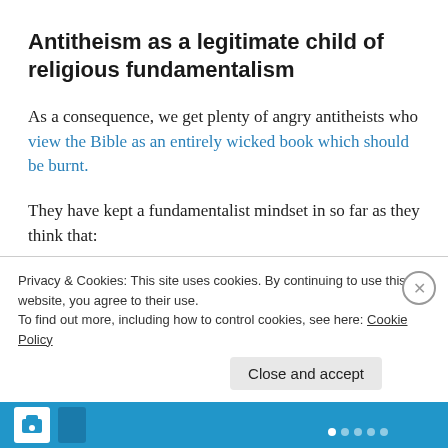Antitheism as a legitimate child of religious fundamentalism
As a consequence, we get plenty of angry antitheists who view the Bible as an entirely wicked book which should be burnt.
They have kept a fundamentalist mindset in so far as they think that:
1) the Bible should be judged in every respect according to modern criteria (thereby
Privacy & Cookies: This site uses cookies. By continuing to use this website, you agree to their use.
To find out more, including how to control cookies, see here: Cookie Policy
Close and accept